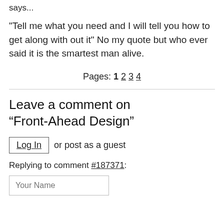says...
"Tell me what you need and I will tell you how to get along with out it" No my quote but who ever said it is the smartest man alive.
Pages: 1 2 3 4
Leave a comment on “Front-Ahead Design”
Log In or post as a guest
Replying to comment #187371:
Your Name